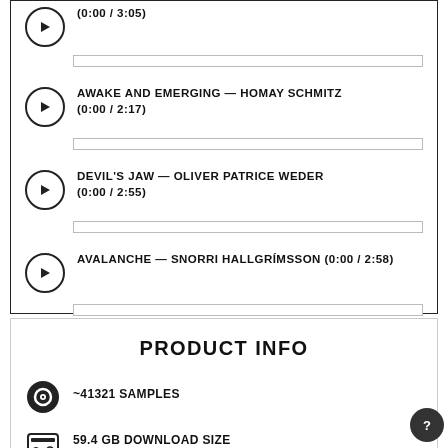(0:00 / 3:05)
AWAKE AND EMERGING — HOMAY SCHMITZ (0:00 / 2:17)
DEVIL'S JAW — OLIVER PATRICE WEDER (0:00 / 2:55)
AVALANCHE — SNORRI HALLGRÍMSSON (0:00 / 2:58)
5 MORE
PRODUCT INFO
~41321 SAMPLES
59.4 GB DOWNLOAD SIZE
Too large to download? Choose hard drive delivery at checkout.